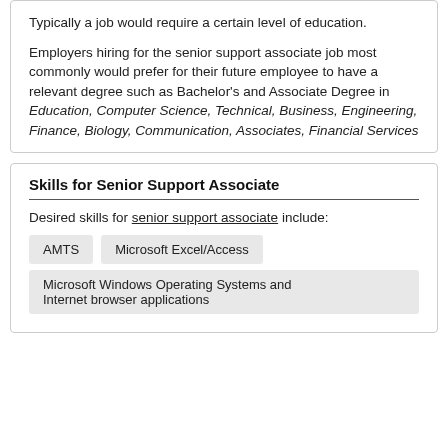Typically a job would require a certain level of education.
Employers hiring for the senior support associate job most commonly would prefer for their future employee to have a relevant degree such as Bachelor's and Associate Degree in Education, Computer Science, Technical, Business, Engineering, Finance, Biology, Communication, Associates, Financial Services
Skills for Senior Support Associate
Desired skills for senior support associate include:
AMTS
Microsoft Excel/Access
Microsoft Windows Operating Systems and Internet browser applications